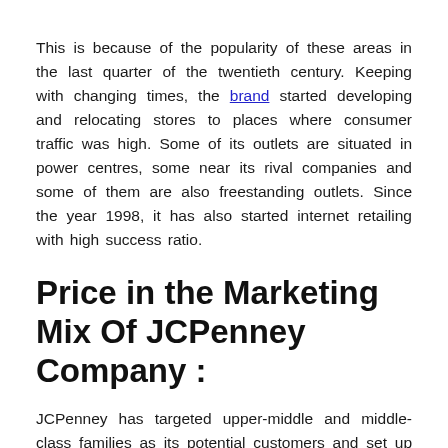This is because of the popularity of these areas in the last quarter of the twentieth century. Keeping with changing times, the brand started developing and relocating stores to places where consumer traffic was high. Some of its outlets are situated in power centres, some near its rival companies and some of them are also freestanding outlets. Since the year 1998, it has also started internet retailing with high success ratio.
Price in the Marketing Mix Of JCPenney Company :
JCPenney has targeted upper-middle and middle-class families as its potential customers and set up mid-range